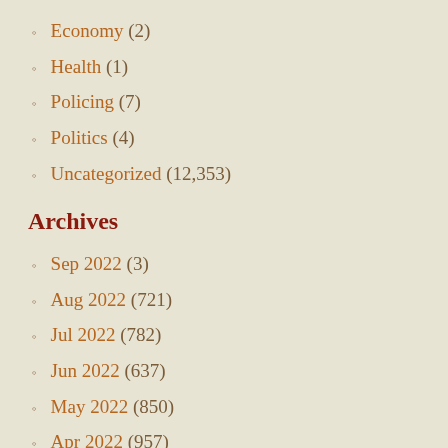Economy (2)
Health (1)
Policing (7)
Politics (4)
Uncategorized (12,353)
Archives
Sep 2022 (3)
Aug 2022 (721)
Jul 2022 (782)
Jun 2022 (637)
May 2022 (850)
Apr 2022 (957)
Mar 2022 (805)
Feb 2022 (619)